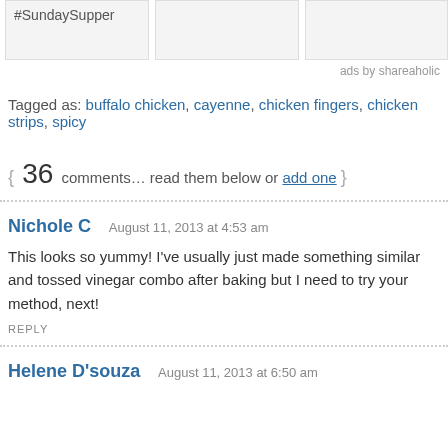[Figure (other): Three image boxes at top, first shows #SundaySupper text, others are blank/light gray]
ads by shareaholic
Tagged as: buffalo chicken, cayenne, chicken fingers, chicken strips, spicy
{ 36 comments… read them below or add one }
Nichole C   August 11, 2013 at 4:53 am
This looks so yummy! I've usually just made something similar and tossed vinegar combo after baking but I need to try your method, next!
REPLY
Helene D'souza   August 11, 2013 at 6:50 am